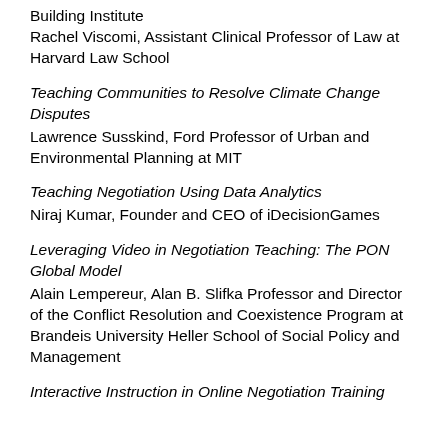Building Institute
Rachel Viscomi, Assistant Clinical Professor of Law at Harvard Law School
Teaching Communities to Resolve Climate Change Disputes
Lawrence Susskind, Ford Professor of Urban and Environmental Planning at MIT
Teaching Negotiation Using Data Analytics
Niraj Kumar, Founder and CEO of iDecisionGames
Leveraging Video in Negotiation Teaching: The PON Global Model
Alain Lempereur, Alan B. Slifka Professor and Director of the Conflict Resolution and Coexistence Program at Brandeis University Heller School of Social Policy and Management
Interactive Instruction in Online Negotiation Training